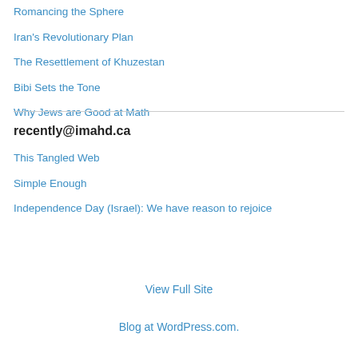Romancing the Sphere
Iran's Revolutionary Plan
The Resettlement of Khuzestan
Bibi Sets the Tone
Why Jews are Good at Math
recently@imahd.ca
This Tangled Web
Simple Enough
Independence Day (Israel): We have reason to rejoice
View Full Site
Blog at WordPress.com.